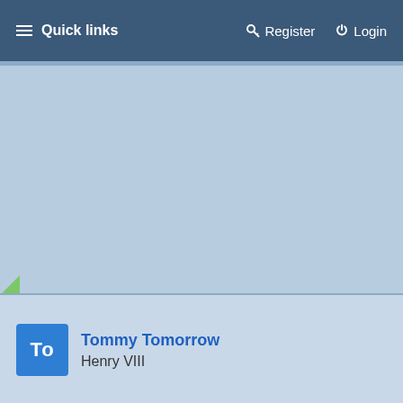Quick links    Register    Login
[Figure (screenshot): Light blue main content area, empty]
Tommy Tomorrow
Henry VIII